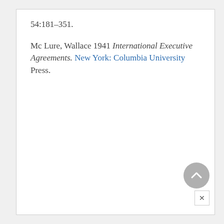54:181–351.
Mc Lure, Wallace 1941 International Executive Agreements. New York: Columbia University Press.